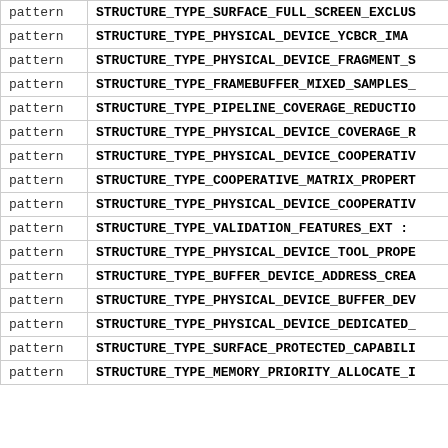| type | name |
| --- | --- |
| pattern | STRUCTURE_TYPE_SURFACE_FULL_SCREEN_EXCLUS... |
| pattern | STRUCTURE_TYPE_PHYSICAL_DEVICE_YCBCR_IMA... |
| pattern | STRUCTURE_TYPE_PHYSICAL_DEVICE_FRAGMENT_S... |
| pattern | STRUCTURE_TYPE_FRAMEBUFFER_MIXED_SAMPLES_... |
| pattern | STRUCTURE_TYPE_PIPELINE_COVERAGE_REDUCTIO... |
| pattern | STRUCTURE_TYPE_PHYSICAL_DEVICE_COVERAGE_R... |
| pattern | STRUCTURE_TYPE_PHYSICAL_DEVICE_COOPERATIV... |
| pattern | STRUCTURE_TYPE_COOPERATIVE_MATRIX_PROPERT... |
| pattern | STRUCTURE_TYPE_PHYSICAL_DEVICE_COOPERATIV... |
| pattern | STRUCTURE_TYPE_VALIDATION_FEATURES_EXT : ... |
| pattern | STRUCTURE_TYPE_PHYSICAL_DEVICE_TOOL_PROPE... |
| pattern | STRUCTURE_TYPE_BUFFER_DEVICE_ADDRESS_CREA... |
| pattern | STRUCTURE_TYPE_PHYSICAL_DEVICE_BUFFER_DEV... |
| pattern | STRUCTURE_TYPE_PHYSICAL_DEVICE_DEDICATED_... |
| pattern | STRUCTURE_TYPE_SURFACE_PROTECTED_CAPABILI... |
| pattern | STRUCTURE_TYPE_MEMORY_PRIORITY_ALLOCATE_I... |